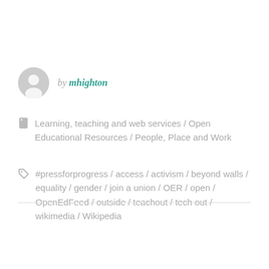by mhighton
Learning, teaching and web services / Open Educational Resources / People, Place and Work
#pressforprogress / access / activism / beyond walls / equality / gender / join a union / OER / open / OpenEdFeed / outside / teachout / tech out / wikimedia / Wikipedia